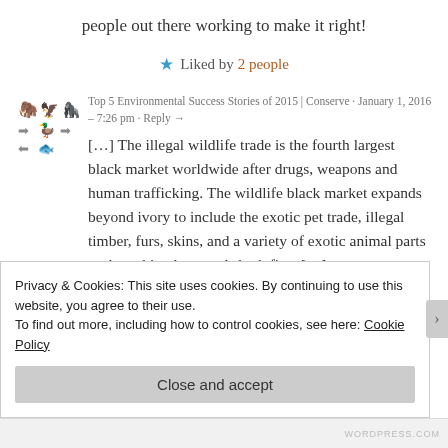people out there working to make it right!
★ Liked by 2 people
Top 5 Environmental Success Stories of 2015 | Conserve · January 1, 2016 – 7:26 pm · Reply →
[…] The illegal wildlife trade is the fourth largest black market worldwide after drugs, weapons and human trafficking. The wildlife black market expands beyond ivory to include the exotic pet trade, illegal timber, furs, skins, and a variety of exotic animal parts such as rhino horn and shark fins. […]
Privacy & Cookies: This site uses cookies. By continuing to use this website, you agree to their use.
To find out more, including how to control cookies, see here: Cookie Policy
Close and accept